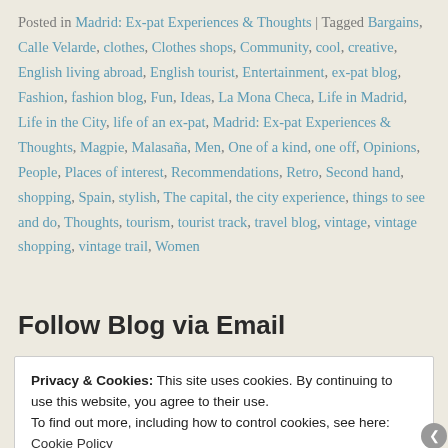Posted in Madrid: Ex-pat Experiences & Thoughts | Tagged Bargains, Calle Velarde, clothes, Clothes shops, Community, cool, creative, English living abroad, English tourist, Entertainment, ex-pat blog, Fashion, fashion blog, Fun, Ideas, La Mona Checa, Life in Madrid, Life in the City, life of an ex-pat, Madrid: Ex-pat Experiences & Thoughts, Magpie, Malasaña, Men, One of a kind, one off, Opinions, People, Places of interest, Recommendations, Retro, Second hand, shopping, Spain, stylish, The capital, the city experience, things to see and do, Thoughts, tourism, tourist track, travel blog, vintage, vintage shopping, vintage trail, Women
Follow Blog via Email
Privacy & Cookies: This site uses cookies. By continuing to use this website, you agree to their use. To find out more, including how to control cookies, see here: Cookie Policy
Close and accept